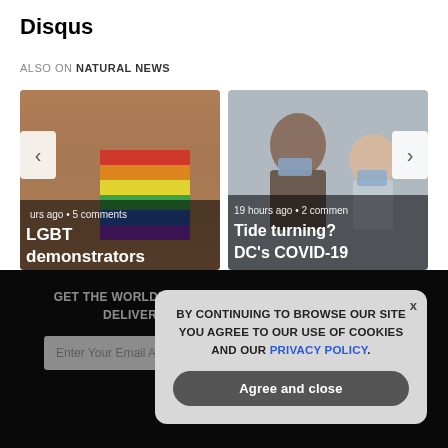Disqus
ALSO ON NATURAL NEWS
[Figure (photo): Left article card showing a person with a rainbow flag painted on their skin, with text 'urs ago • 5 comments' and title 'LGBT demonstrators']
[Figure (photo): Right article card showing a medical professional and a child both wearing masks, with text '19 hours ago • 2 comments' and title 'Tide turning? DC's COVID-19']
GET THE WORLD'S BEST NATURAL HEALTH NEWSLETTER DELIVERED STRAIGHT TO YOUR INBOX
BY CONTINUING TO BROWSE OUR SITE YOU AGREE TO OUR USE OF COOKIES AND OUR PRIVACY POLICY.
Agree and close